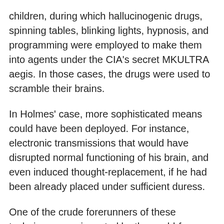children, during which hallucinogenic drugs, spinning tables, blinking lights, hypnosis, and programming were employed to make them into agents under the CIA's secret MKULTRA aegis. In those cases, the drugs were used to scramble their brains.
In Holmes' case, more sophisticated means could have been deployed. For instance, electronic transmissions that would have disrupted normal functioning of his brain, and even induced thought-replacement, if he had been already placed under sufficient duress.
One of the crude forerunners of these techniques was invented by the world-famous Canadian psychiatrist, Ewen Cameron, who carried out experiments on unwitting patients during the 1950s. Partially funded by a CIA front, Cameron's torture method was called psychic driving.